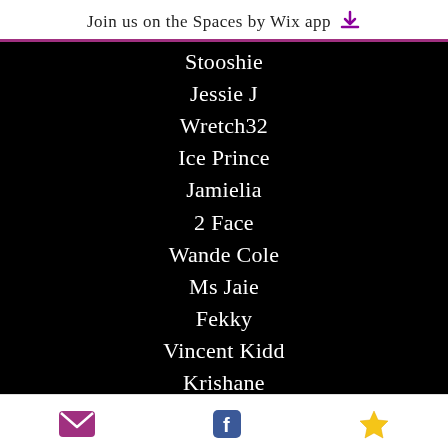Join us on the Spaces by Wix app
Stooshie
Jessie J
Wretch32
Ice Prince
Jamielia
2 Face
Wande Cole
Ms Jaie
Fekky
Vincent Kidd
Krishane
Starboy Nathan
Shakka
Jaquees
Vanessa White
email | facebook | star